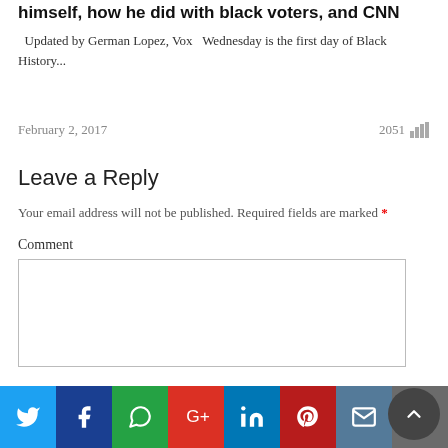Trump used a Black History Month speech to talk about himself, how he did with black voters, and CNN
Updated by German Lopez, Vox   Wednesday is the first day of Black History...
February 2, 2017
2051
Leave a Reply
Your email address will not be published. Required fields are marked *
Comment